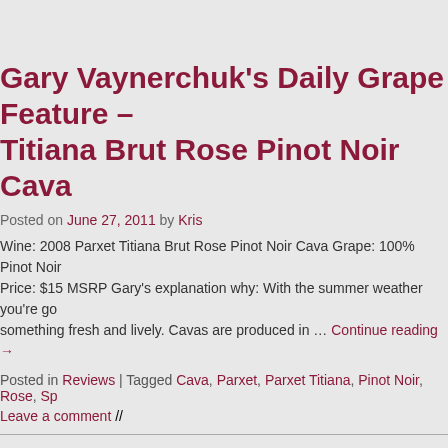Gary Vaynerchuk's Daily Grape Feature – Titiana Brut Rose Pinot Noir Cava
Posted on June 27, 2011 by Kris
Wine: 2008 Parxet Titiana Brut Rose Pinot Noir Cava Grape: 100% Pinot Noir Price: $15 MSRP Gary's explanation why: With the summer weather you're go something fresh and lively. Cavas are produced in … Continue reading →
Posted in Reviews | Tagged Cava, Parxet, Parxet Titiana, Pinot Noir, Rose, Sp
Leave a comment //
← Older posts